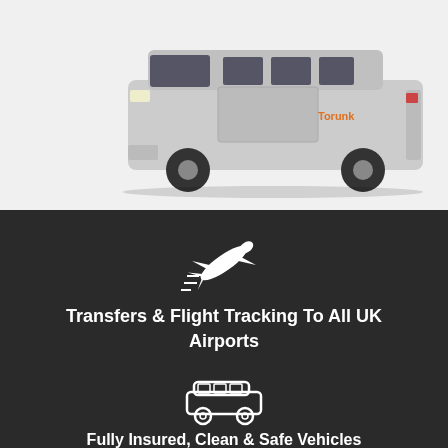[Figure (photo): Silver Ford Transit minivan/van with Torunk logo on the side, shown on a light grey background, right-facing]
[Figure (illustration): White airplane icon on dark background]
Transfers & Flight Tracking To All UK Airports
[Figure (illustration): White minivan/car icon on dark background]
Fully Insured, Clean & Safe Vehicles